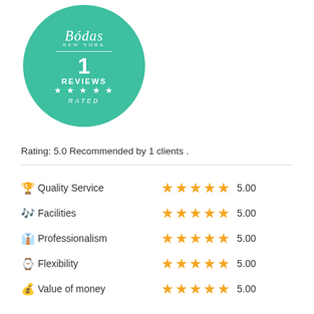[Figure (logo): Bodas New York circular badge in teal/green color showing '1 REVIEWS ★★★★★ RATED']
Rating: 5.0 Recommended by 1 clients .
| Category | Stars | Score |
| --- | --- | --- |
| 🏆 Quality Service | ★★★★★ | 5.00 |
| 🎶 Facilities | ★★★★★ | 5.00 |
| 👔 Professionalism | ★★★★★ | 5.00 |
| ⌚ Flexibility | ★★★★★ | 5.00 |
| 💰 Value of money | ★★★★★ | 5.00 |